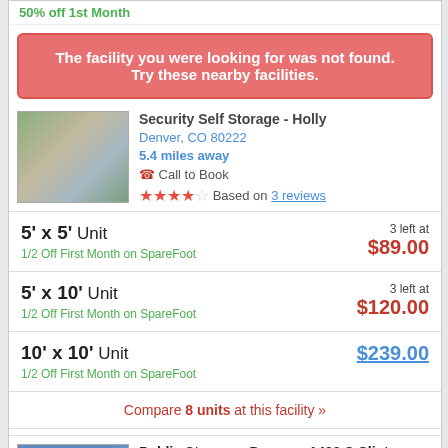50% off 1st Month
The facility you were looking for was not found. Try these nearby facilities.
Security Self Storage - Holly
Denver, CO 80222
5.4 miles away
Call to Book
★★★★☆ Based on 3 reviews
5' x 5' Unit
1/2 Off First Month on SpareFoot
3 left at $89.00
5' x 10' Unit
1/2 Off First Month on SpareFoot
3 left at $120.00
10' x 10' Unit
1/2 Off First Month on SpareFoot
$239.00
Compare 8 units at this facility »
Public Storage - Denver - 1492 S Clinton ...
Denver, CO 80247